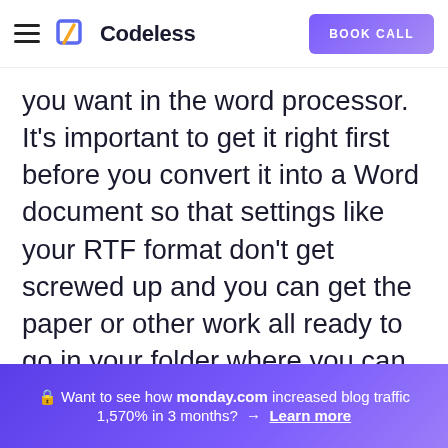Codeless | BOOK CALL
you want in the word processor. It's important to get it right first before you convert it into a Word document so that settings like your RTF format don't get screwed up and you can get the paper or other work all ready to go in your folder where you can easily find it later.
Brad Smith
Founder & CEO
🔒 Want to see how monday.com increased blog traffic 1,570% in 3 months? → Learn more